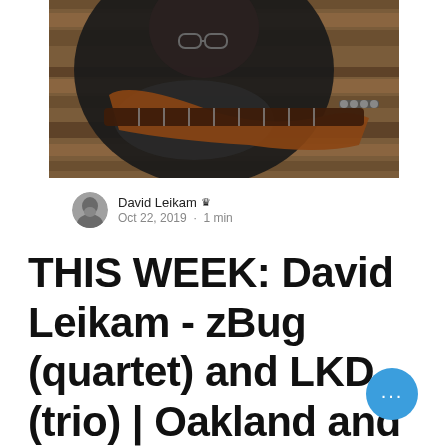[Figure (photo): A man with gray beard and glasses wearing a black shirt, seated and holding a multi-string fretless bass guitar, photographed from above against a wooden wall background.]
David Leikam 👑
Oct 22, 2019 · 1 min
THIS WEEK: David Leikam - zBug (quartet) and LKD (trio) | Oakland and Sunnyvale, California